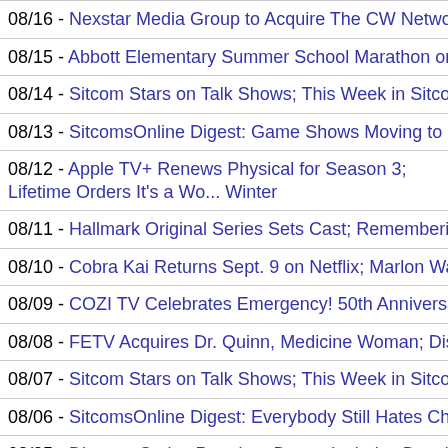08/16 - Nexstar Media Group to Acquire The CW Network; Tubi Orders Brea...
08/15 - Abbott Elementary Summer School Marathon on ABC; Freevee's Hig...
08/14 - Sitcom Stars on Talk Shows; This Week in Sitcoms (Week of August...
08/13 - SitcomsOnline Digest: Game Shows Moving to Primetime Emmys; F...
08/12 - Apple TV+ Renews Physical for Season 3; Lifetime Orders It's a Wo... Winter
08/11 - Hallmark Original Series Sets Cast; Remembering Pat Carroll, Roge...
08/10 - Cobra Kai Returns Sept. 9 on Netflix; Marlon Wayans Gets Starz Co...
08/09 - COZI TV Celebrates Emergency! 50th Anniversary with Documentar...
08/08 - FETV Acquires Dr. Quinn, Medicine Woman; Disney+ Orders 2nd Se...
08/07 - Sitcom Stars on Talk Shows; This Week in Sitcoms (Week of August...
08/06 - SitcomsOnline Digest: Everybody Still Hates Chris Animated Series ...
08/05 - Disney+ Series Premiere Dates, Includes Dancing with the Stars; Ha...
08/04 - NBC Moving Days of Our Lives to Peacock, Replacing with News Sh...
08/03 - FX's Atlanta Final Season Launches Sept. 15; Elisabeth Moss Gets ...
08/02 - Showtime Orders Comedy Pilot Titled Mason; NBC Renews Weakes...